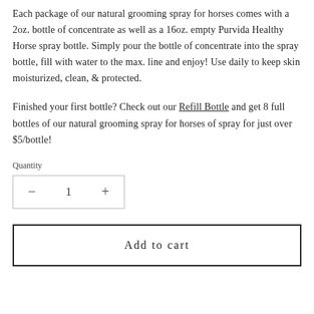Each package of our natural grooming spray for horses comes with a 2oz. bottle of concentrate as well as a 16oz. empty Purvida Healthy Horse spray bottle. Simply pour the bottle of concentrate into the spray bottle, fill with water to the max. line and enjoy! Use daily to keep skin moisturized, clean, & protected.
Finished your first bottle? Check out our Refill Bottle and get 8 full bottles of our natural grooming spray for horses of spray for just over $5/bottle!
Quantity
— 1 +
Add to cart